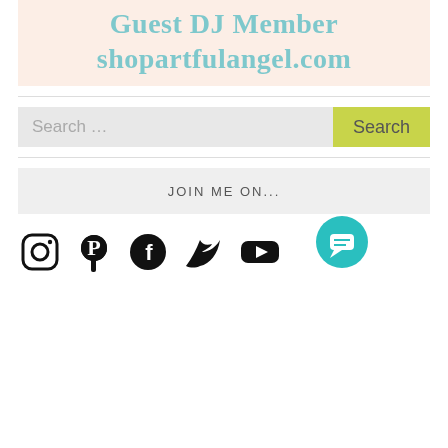[Figure (illustration): Banner with peach/cream background showing 'Guest DJ Member shopartfulangel.com' in teal/light blue bold serif font]
Search …
JOIN ME ON...
[Figure (illustration): Social media icons: Instagram, Pinterest, Facebook, Twitter, YouTube in black; teal chat bubble icon in bottom left]